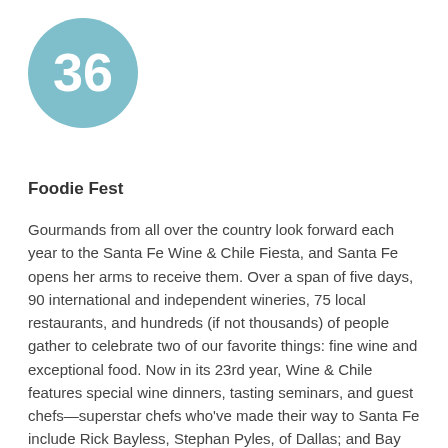[Figure (illustration): A light teal/blue circle with the number 36 in white text]
Foodie Fest
Gourmands from all over the country look forward each year to the Santa Fe Wine & Chile Fiesta, and Santa Fe opens her arms to receive them. Over a span of five days, 90 international and independent wineries, 75 local restaurants, and hundreds (if not thousands) of people gather to celebrate two of our favorite things: fine wine and exceptional food. Now in its 23rd year, Wine & Chile features special wine dinners, tasting seminars, and guest chefs—superstar chefs who've made their way to Santa Fe include Rick Bayless, Stephan Pyles, of Dallas; and Bay Area molecular-gastronomy pioneer Daniel Patterson, of